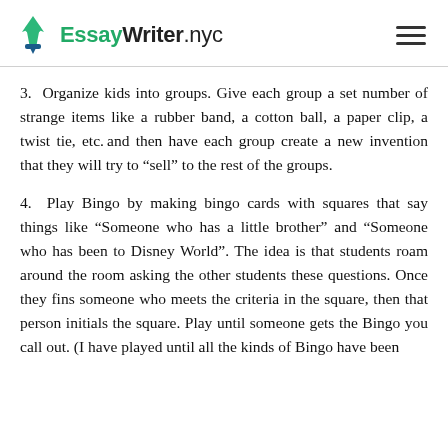EssayWriter.nyc
3.  Organize kids into groups. Give each group a set number of strange items like a rubber band, a cotton ball, a paper clip, a twist tie, etc. and then have each group create a new invention that they will try to “sell” to the rest of the groups.
4.  Play Bingo by making bingo cards with squares that say things like “Someone who has a little brother” and “Someone who has been to Disney World”. The idea is that students roam around the room asking the other students these questions. Once they fins someone who meets the criteria in the square, then that person initials the square. Play until someone gets the Bingo you call out. (I have played until all the kinds of Bingo have been